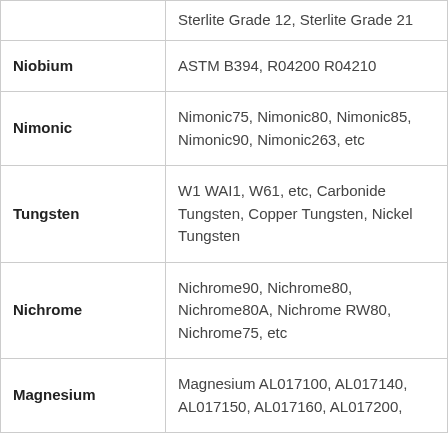| Material | Grades/Standards |
| --- | --- |
|  | Sterlite Grade 12, Sterlite Grade 21 |
| Niobium | ASTM B394, R04200 R04210 |
| Nimonic | Nimonic75, Nimonic80, Nimonic85, Nimonic90, Nimonic263, etc |
| Tungsten | W1 WAI1, W61, etc, Carbonide Tungsten, Copper Tungsten, Nickel Tungsten |
| Nichrome | Nichrome90, Nichrome80, Nichrome80A, Nichrome RW80, Nichrome75, etc |
| Magnesium | Magnesium AL017100, AL017140, AL017150, AL017160, AL017200, |